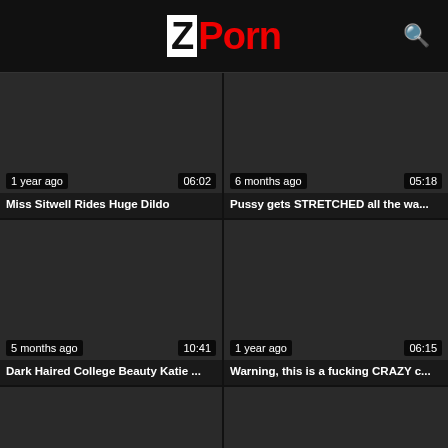ZPorn
[Figure (screenshot): Video thumbnail dark, 1 year ago, 06:02]
Miss Sitwell Rides Huge Dildo
[Figure (screenshot): Video thumbnail dark, 6 months ago, 05:18]
Pussy gets STRETCHED all the wa...
[Figure (screenshot): Video thumbnail dark, 5 months ago, 10:41]
Dark Haired College Beauty Katie ...
[Figure (screenshot): Video thumbnail dark, 1 year ago, 06:15]
Warning, this is a fucking CRAZY c...
[Figure (screenshot): Video thumbnail dark, 1 year ago, 25:25]
SHE USING HUGE DILDOS IN HER...
[Figure (screenshot): Video thumbnail dark, 2 years ago, 06:44]
Riding BIG FAT WHITE DILDO i...